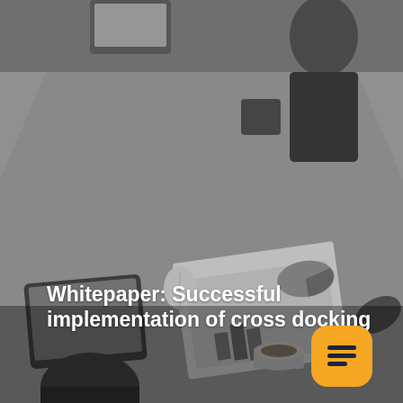[Figure (photo): Black and white overhead photo of business professionals in a meeting around a conference table, with documents, charts, a laptop, a coffee cup, and office supplies visible on the table.]
Whitepaper: Successful implementation of cross docking
[Figure (logo): Orange rounded square chat bubble icon with a white horizontal lines/message icon inside.]